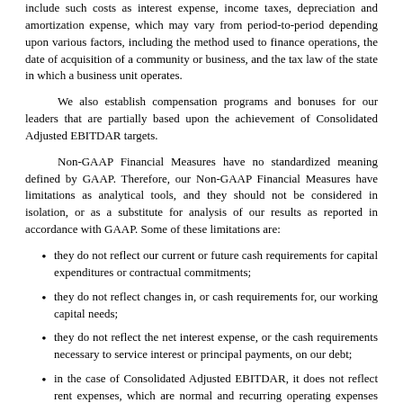include such costs as interest expense, income taxes, depreciation and amortization expense, which may vary from period-to-period depending upon various factors, including the method used to finance operations, the date of acquisition of a community or business, and the tax law of the state in which a business unit operates.
We also establish compensation programs and bonuses for our leaders that are partially based upon the achievement of Consolidated Adjusted EBITDAR targets.
Non-GAAP Financial Measures have no standardized meaning defined by GAAP. Therefore, our Non-GAAP Financial Measures have limitations as analytical tools, and they should not be considered in isolation, or as a substitute for analysis of our results as reported in accordance with GAAP. Some of these limitations are:
they do not reflect our current or future cash requirements for capital expenditures or contractual commitments;
they do not reflect changes in, or cash requirements for, our working capital needs;
they do not reflect the net interest expense, or the cash requirements necessary to service interest or principal payments, on our debt;
in the case of Consolidated Adjusted EBITDAR, it does not reflect rent expenses, which are normal and recurring operating expenses that are